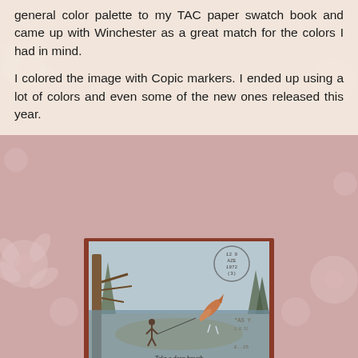general color palette to my TAC paper swatch book and came up with Winchester as a great match for the colors I had in mind.
I colored the image with Copic markers. I ended up using a lot of colors and even some of the new ones released this year.
[Figure (photo): A colored card featuring a fishing scene with a person fishing, a jumping fish, pine trees, and a postmark stamp. Text at bottom reads 'Take a deep breath'.]